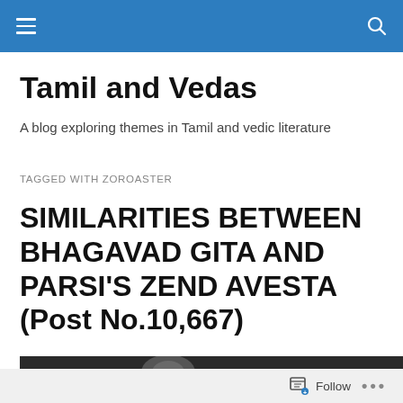Tamil and Vedas
A blog exploring themes in Tamil and vedic literature
TAGGED WITH ZOROASTER
SIMILARITIES BETWEEN BHAGAVAD GITA AND PARSI'S ZEND AVESTA (Post No.10,667)
[Figure (photo): Dark image strip at the bottom of the page]
Follow